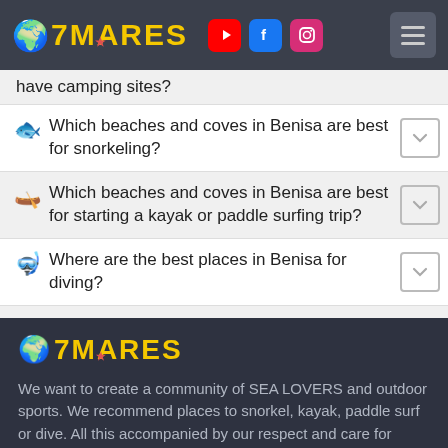7MARES — navigation header with globe emoji, social icons (YouTube, Facebook, Instagram), and hamburger menu
have camping sites?
Which beaches and coves in Benisa are best for snorkeling?
Which beaches and coves in Benisa are best for starting a kayak or paddle surfing trip?
Where are the best places in Benisa for diving?
[Figure (logo): 7MARES logo with globe emoji and yellow bold text]
We want to create a community of SEA LOVERS and outdoor sports. We recommend places to snorkel, kayak, paddle surf or dive. All this accompanied by our respect and care for NATURE. Sign up and share your passion with